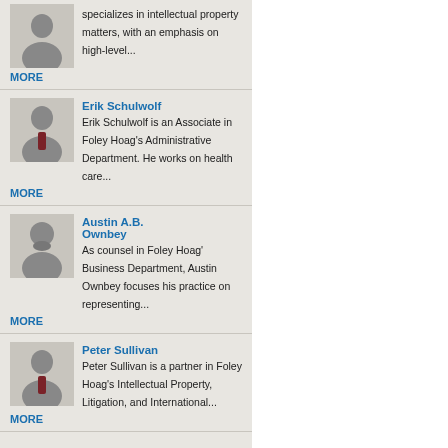specializes in intellectual property matters, with an emphasis on high-level...
MORE
Erik Schulwolf
Erik Schulwolf is an Associate in Foley Hoag's Administrative Department. He works on health care...
MORE
Austin A.B. Ownbey
As counsel in Foley Hoag' Business Department, Austin Ownbey focuses his practice on representing...
MORE
Peter Sullivan
Peter Sullivan is a partner in Foley Hoag's Intellectual Property, Litigation, and International...
MORE